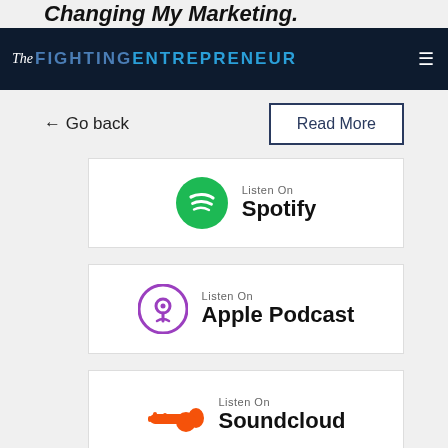The Fighting Entrepreneur
← Go back
Read More
[Figure (logo): Listen On Spotify button with Spotify green circle logo]
[Figure (logo): Listen On Apple Podcast button with purple podcast icon]
[Figure (logo): Listen On Soundcloud button with orange cloud icon]
[Figure (logo): Listen On Google Podcasts button with colored dots icon (partially visible)]